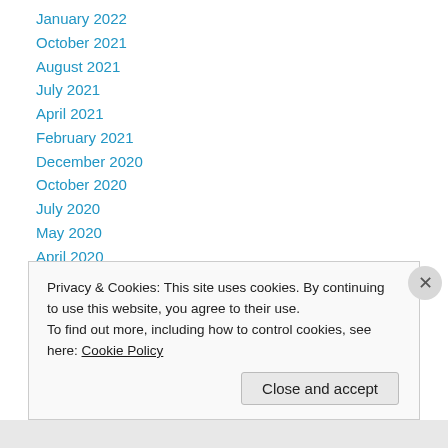January 2022
October 2021
August 2021
July 2021
April 2021
February 2021
December 2020
October 2020
July 2020
May 2020
April 2020
March 2020
February 2020
Privacy & Cookies: This site uses cookies. By continuing to use this website, you agree to their use. To find out more, including how to control cookies, see here: Cookie Policy
Close and accept